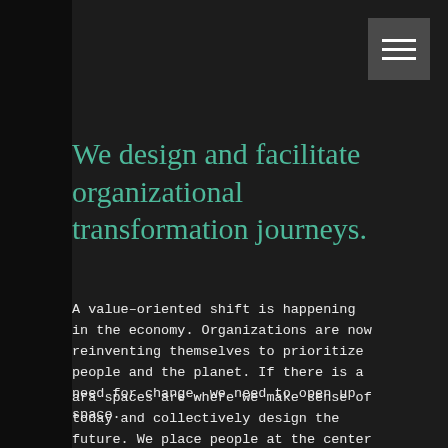[Figure (other): Hamburger menu icon button with three white horizontal lines on a dark grey square background]
We design and facilitate organizational transformation journeys.
A value–oriented shift is happening in the economy. Organizations are now reinventing themselves to prioritize people and the planet. If there is a need for change, we need to open up space.
ara spaces are where we make sense of today and collectively design the future. We place people at the center of our facilitation process. Together, we listen, we create and we learn.
At the end of each journey, we come up with concrete outputs ranging from new